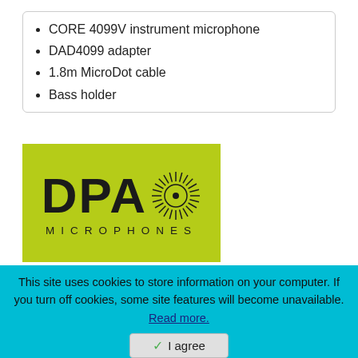CORE 4099V instrument microphone
DAD4099 adapter
1.8m MicroDot cable
Bass holder
[Figure (logo): DPA Microphones logo on lime/yellow-green background with sunburst graphic]
The DPA company produces microphones and other equipment for sound engineering. All DPA products are available at a very attractive price. If a specific product is not available on our website, you can get in contact with us and we will inform you if it is possible to order it.
Share this product
This site uses cookies to store information on your computer. If you turn off cookies, some site features will become unavailable. Read more.